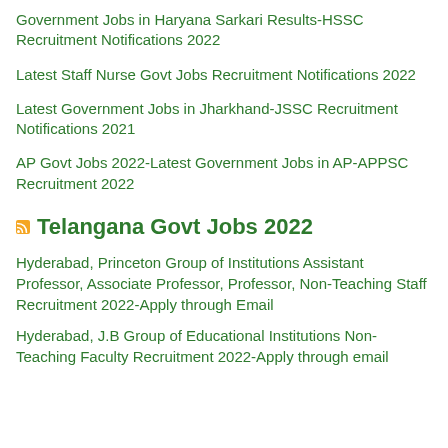Government Jobs in Haryana Sarkari Results-HSSC Recruitment Notifications 2022
Latest Staff Nurse Govt Jobs Recruitment Notifications 2022
Latest Government Jobs in Jharkhand-JSSC Recruitment Notifications 2021
AP Govt Jobs 2022-Latest Government Jobs in AP-APPSC Recruitment 2022
Telangana Govt Jobs 2022
Hyderabad, Princeton Group of Institutions Assistant Professor, Associate Professor, Professor, Non-Teaching Staff Recruitment 2022-Apply through Email
Hyderabad, J.B Group of Educational Institutions Non-Teaching Faculty Recruitment 2022-Apply through email